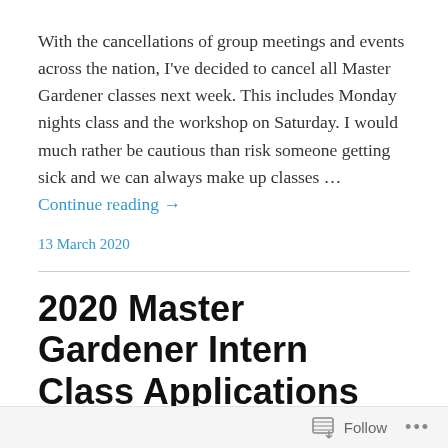With the cancellations of group meetings and events across the nation, I've decided to cancel all Master Gardener classes next week.  This includes Monday nights class and the workshop on Saturday.  I would much rather be cautious than risk someone getting sick and we can always make up classes … Continue reading →
13 March 2020
2020 Master Gardener Intern Class Applications Available
We have now started advertising our next MG intern class which will begin the last Monday in January.  The
Follow ···